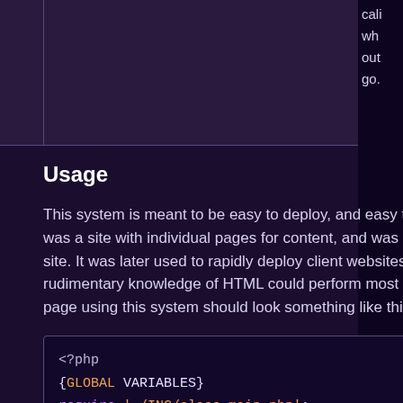|  |  | cali wh out go. |
Usage
This system is meant to be easy to deploy, and easy to work with once it's deployed. The original application for it was a site with individual pages for content, and was designed to simplify the process of adding new pages to the site. It was later used to rapidly deploy client websites, and build them in ways that someone with even the most rudimentary knowledge of HTML could perform most of their own maintenance. So, the starting point for a new page using this system should look something like this:
[Figure (screenshot): Code block showing PHP template: <?php {GLOBAL VARIABLES} require './INC/class_main.php'; ?> followed by 'Page content goes here.']
No additional functions are required after the content of the page; all final output by page_footer is handled by the main object's destructor function. However if the page uses the